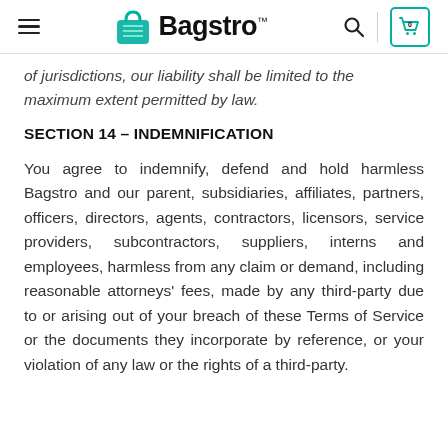Bagstro™
of jurisdictions, our liability shall be limited to the maximum extent permitted by law.
SECTION 14 – INDEMNIFICATION
You agree to indemnify, defend and hold harmless Bagstro and our parent, subsidiaries, affiliates, partners, officers, directors, agents, contractors, licensors, service providers, subcontractors, suppliers, interns and employees, harmless from any claim or demand, including reasonable attorneys' fees, made by any third-party due to or arising out of your breach of these Terms of Service or the documents they incorporate by reference, or your violation of any law or the rights of a third-party.